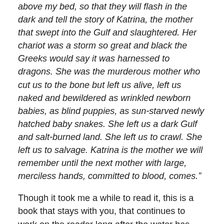above my bed, so that they will flash in the dark and tell the story of Katrina, the mother that swept into the Gulf and slaughtered. Her chariot was a storm so great and black the Greeks would say it was harnessed to dragons. She was the murderous mother who cut us to the bone but left us alive, left us naked and bewildered as wrinkled newborn babies, as blind puppies, as sun-starved newly hatched baby snakes. She left us a dark Gulf and salt-burned land. She left us to crawl. She left us to salvage. Katrina is the mother we will remember until the next mother with large, merciless hands, committed to blood, comes."
Though it took me a while to read it, this is a book that stays with you, that continues to work on the reader long after the water has receded. It is a lament to the lone motherless adolescent and her siblings, to the courage of